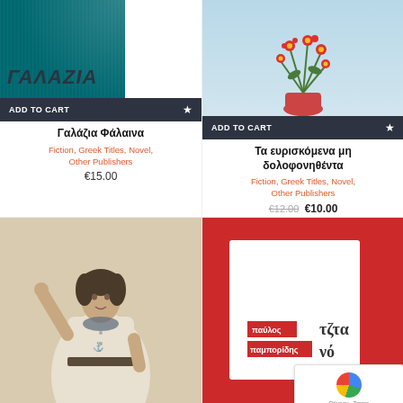[Figure (illustration): Book cover for Γαλάζια Φάλαινα - teal/dark cover with Greek title text and white panel]
Γαλάζια Φάλαινα
Fiction, Greek Titles, Novel, Other Publishers
€15.00
[Figure (photo): Book cover with flowers/plant arrangement on light blue/green background]
Τα ευρισκόμενα μη δολοφονηθέντα
Fiction, Greek Titles, Novel, Other Publishers
€12.00 €10.00
[Figure (photo): Vintage black and white photograph of a woman in white dress with scarf]
[Figure (illustration): Red book cover with white inner panel showing publisher name badges and partial title text]